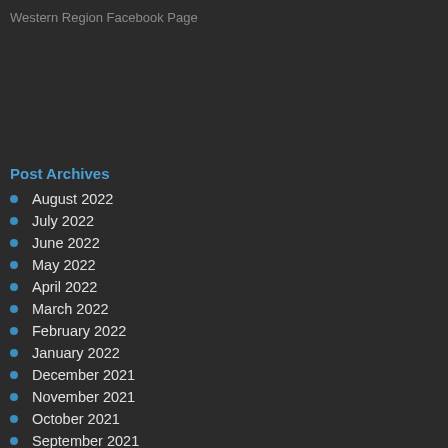Western Region Facebook Page
Post Archives
August 2022
July 2022
June 2022
May 2022
April 2022
March 2022
February 2022
January 2022
December 2021
November 2021
October 2021
September 2021
August 2021
July 2021